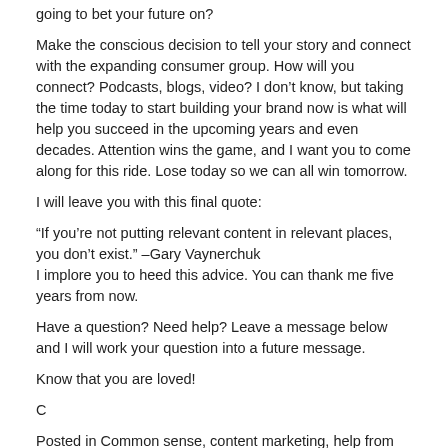going to bet your future on?
Make the conscious decision to tell your story and connect with the expanding consumer group. How will you connect? Podcasts, blogs, video? I don't know, but taking the time today to start building your brand now is what will help you succeed in the upcoming years and even decades. Attention wins the game, and I want you to come along for this ride. Lose today so we can all win tomorrow.
I will leave you with this final quote:
“If you’re not putting relevant content in relevant places, you don’t exist.” –Gary Vaynerchuk
I implore you to heed this advice. You can thank me five years from now.
Have a question? Need help? Leave a message below and I will work your question into a future message.
Know that you are loved!
C
Posted in Common sense, content marketing, help from your insurance agent, Help Me Help You, Inspiration, Marketing, Money Matters, insurance industry, Travel, Real Help